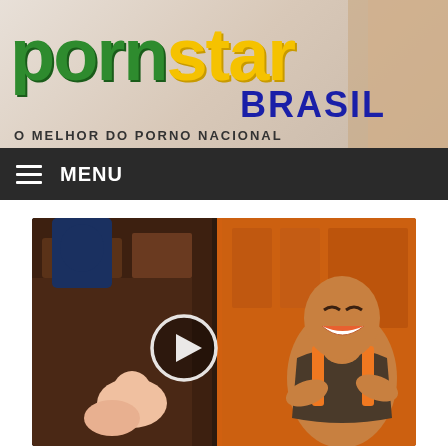[Figure (logo): PornStar Brasil logo with green 'porn', yellow 'star', dark blue 'BRASIL' text and tagline 'O MELHOR DO PORNO NACIONAL']
≡  MENU
[Figure (illustration): Animated/cartoon style illustration showing two characters in an indoor setting, with a video play button overlay in the center]